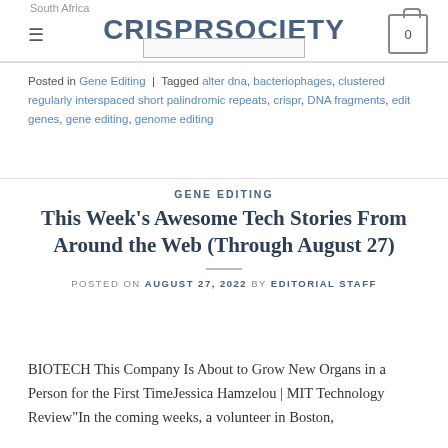South Africa | CRISPRSOCIETY | 0
Posted in Gene Editing | Tagged alter dna, bacteriophages, clustered regularly interspaced short palindromic repeats, crispr, DNA fragments, edit genes, gene editing, genome editing
GENE EDITING
This Week's Awesome Tech Stories From Around the Web (Through August 27)
POSTED ON AUGUST 27, 2022 BY EDITORIAL STAFF
BIOTECH This Company Is About to Grow New Organs in a Person for the First TimeJessica Hamzelou | MIT Technology Review"In the coming weeks, a volunteer in Boston,